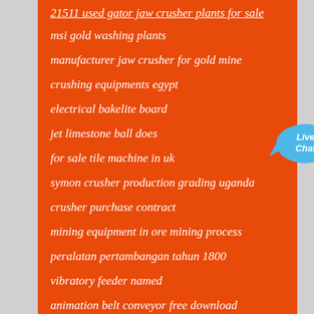21511 used gator jaw crusher plants for sale
msi gold washing plants
manufacturer jaw crusher for gold mine
crushing equipments egypt
electrical bakelite board
jet limestone ball does
for sale tile machine in uk
symon crusher production grading uganda
crusher purchase contract
mining equipment in ore mining process
peralatan pertambangan tahun 1800
vibratory feeder named
animation belt conveyor free download